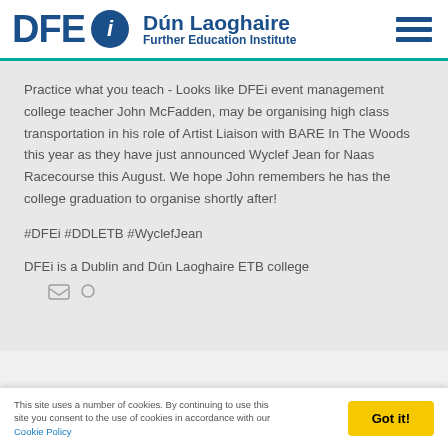[Figure (logo): DFEi - Dún Laoghaire Further Education Institute logo with hamburger menu icon]
Practice what you teach - Looks like DFEi event management college teacher John McFadden, may be organising high class transportation in his role of Artist Liaison with BARE In The Woods this year as they have just announced Wyclef Jean for Naas Racecourse this August. We hope John remembers he has the college graduation to organise shortly after!
#DFEi #DDLETB #WyclefJean
DFEi is a Dublin and Dún Laoghaire ETB college
This site uses a number of cookies. By continuing to use this site you consent to the use of cookies in accordance with our Cookie Policy